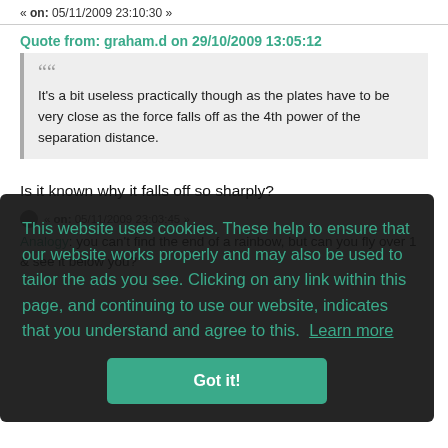« on: 05/11/2009 23:10:30 »
Quote from: graham.d on 29/10/2009 13:05:12
It's a bit useless practically though as the plates have to be very close as the force falls off as the 4th power of the separation distance.
Is it known why it falls off so sharply?
« on: 05/11/2009 23:03:45 »
Analogy: you can't find the end of a rainbow, but can you fly over 1 & see it below you?
This website uses cookies. These help to ensure that our website works properly and may also be used to tailor the ads you see. Clicking on any link within this page, and continuing to use our website, indicates that you understand and agree to this. Learn more
Got it!